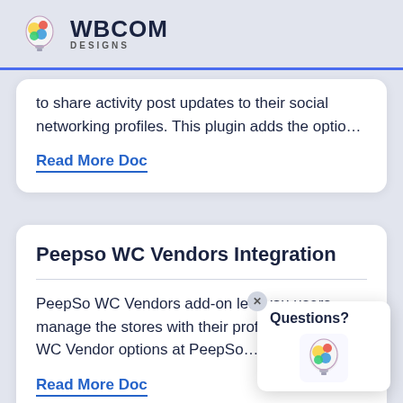WBCOM DESIGNS
to share activity post updates to their social networking profiles. This plugin adds the optio…
Read More Doc
Peepso WC Vendors Integration
PeepSo WC Vendors add-on lets you users manage the stores with their profile di displays WC Vendor options at PeepSo…
Read More Doc
Questions?